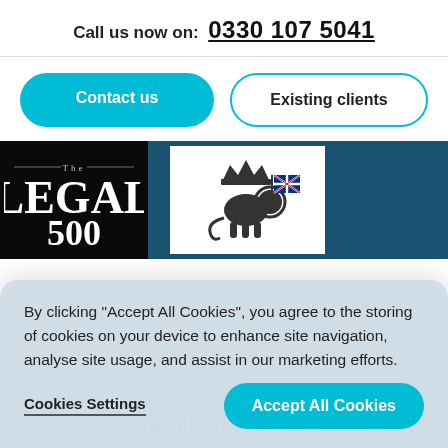Call us now on:  0330 107 5041
Contact us
Existing clients
[Figure (logo): The Legal 500 logo — black background with white serif text reading 'The LEGAL 500']
[Figure (logo): Royal lion with crown and Union Jack flag emblem on white background]
By clicking "Accept All Cookies", you agree to the storing of cookies on your device to enhance site navigation, analyse site usage, and assist in our marketing efforts.
Cookies Settings
Accept All Cookies